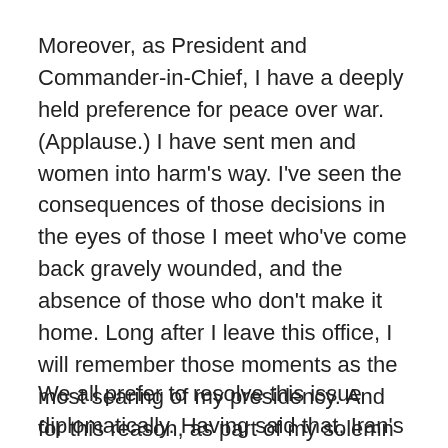Moreover, as President and Commander-in-Chief, I have a deeply held preference for peace over war.  (Applause.)  I have sent men and women into harm's way.  I've seen the consequences of those decisions in the eyes of those I meet who've come back gravely wounded, and the absence of those who don't make it home. Long after I leave this office, I will remember those moments as the most searing of my presidency.  And for this reason, as part of my solemn obligation to the American people, I will only use force when the time and circumstances demand it.  And I know that Israeli leaders also know all too well the costs and consequences of war, even as they recognize their obligation to defend their country.
We all prefer to resolve this issue diplomatically.  Having said that, Iran's leaders should have no doubt about the